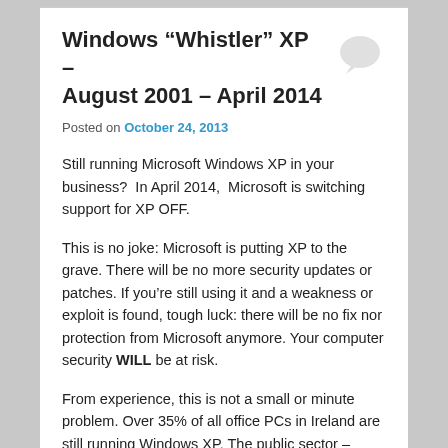Windows “Whistler” XP – August 2001 – April 2014
Posted on October 24, 2013
Still running Microsoft Windows XP in your business?  In April 2014,  Microsoft is switching support for XP OFF.
This is no joke: Microsoft is putting XP to the grave. There will be no more security updates or patches. If you’re still using it and a weakness or exploit is found, tough luck: there will be no fix nor protection from Microsoft anymore. Your computer security WILL be at risk.
From experience, this is not a small or minute problem. Over 35% of all office PCs in Ireland are still running Windows XP. The public sector – including schools, hospitals, government departments, authorities and other institutions – also use the 12-year-old operating system in